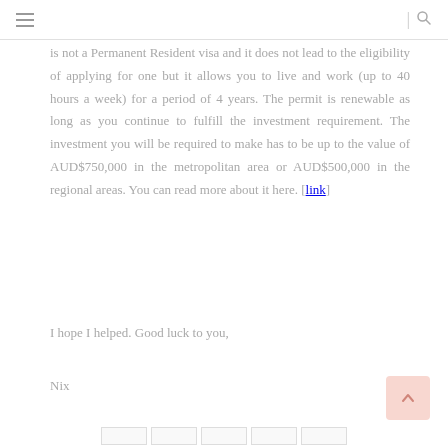≡  | 🔍
is not a Permanent Resident visa and it does not lead to the eligibility of applying for one but it allows you to live and work (up to 40 hours a week) for a period of 4 years. The permit is renewable as long as you continue to fulfill the investment requirement. The investment you will be required to make has to be up to the value of AUD$750,000 in the metropolitan area or AUD$500,000 in the regional areas. You can read more about it here. [link]
I hope I helped. Good luck to you,
Nix